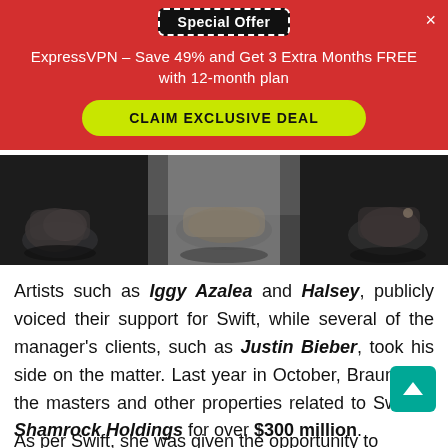[Figure (screenshot): Advertisement banner: Special Offer badge, ExpressVPN promotional text, CLAIM EXCLUSIVE DEAL button on red background]
[Figure (photo): Dark photo strip showing three sets of hands resting on a surface — left in dark jacket, center in white shirt, right in dark clothing]
Artists such as Iggy Azalea and Halsey, publicly voiced their support for Swift, while several of the manager's clients, such as Justin Bieber, took his side on the matter. Last year in October, Braun sold the masters and other properties related to Swift to Shamrock Holdings for over $300 million.
As per Swift, she was given the opportunity to